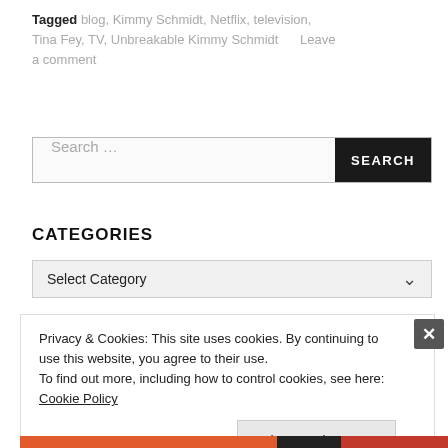Tagged blog, Kimmy Schmidt, Netflix, television, Tina Fey, TV, Unbreakable Kimmy Schmidt   Leave a comment
[Figure (screenshot): Search bar with text 'Search ...' and a black SEARCH button on the right]
CATEGORIES
[Figure (screenshot): Dropdown selector with 'Select Category' and a chevron arrow]
Privacy & Cookies: This site uses cookies. By continuing to use this website, you agree to their use.
To find out more, including how to control cookies, see here: Cookie Policy
Close and accept